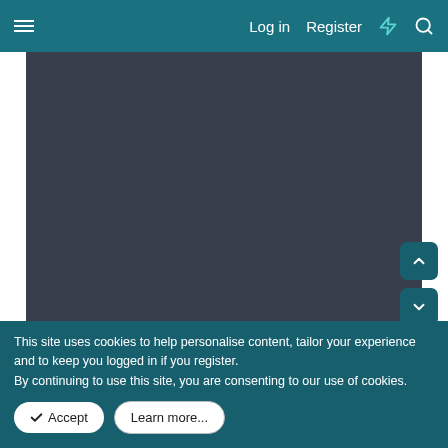Log in  Register
[Figure (screenshot): Dark gray placeholder image area filling most of the visible page below the navigation bar]
1 / 2
This site uses cookies to help personalise content, tailor your experience and to keep you logged in if you register.
By continuing to use this site, you are consenting to our use of cookies.
Accept
Learn more...